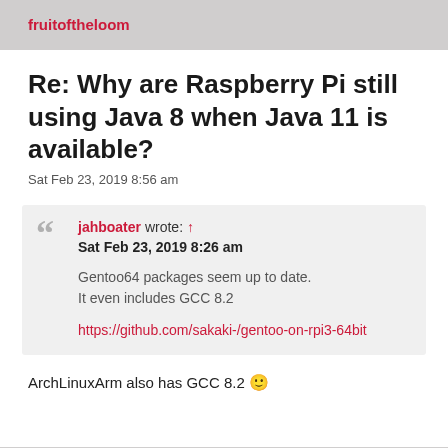fruitoftheloom
Re: Why are Raspberry Pi still using Java 8 when Java 11 is available?
Sat Feb 23, 2019 8:56 am
jahboater wrote: ↑
Sat Feb 23, 2019 8:26 am

Gentoo64 packages seem up to date.
It even includes GCC 8.2

https://github.com/sakaki-/gentoo-on-rpi3-64bit
ArchLinuxArm also has GCC 8.2 🙂